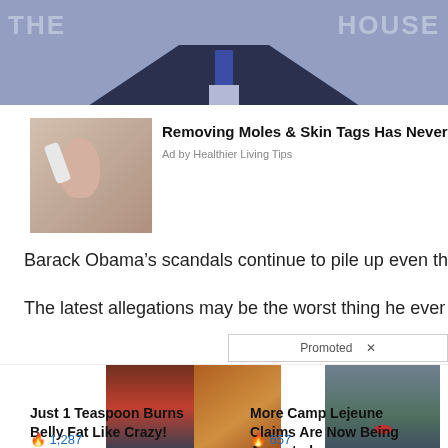[Figure (photo): Top banner image: man in dark suit and tie at a podium with 'THE HOUSE' text visible in background]
[Figure (photo): Ad image: woman applying something to her face near her nose]
Removing Moles & Skin Tags Has Never B
Ad by Healthier Living Tips
Barack Obama's scandals continue to pile up even though
The latest allegations may be the worst thing he ever did.
Promoted X
[Figure (photo): Promoted ad image: fitness person and spoon with spices]
Just 1 Teaspoon Burns Belly Fat Like Crazy!
🔥 1,287
[Figure (photo): Promoted ad image: water with floating object]
More Camp Lejeune Claims Are Now Being Accepted
🔥 657